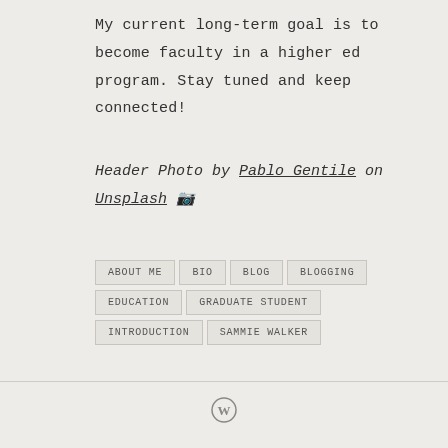My current long-term goal is to become faculty in a higher ed program. Stay tuned and keep connected!
Header Photo by Pablo Gentile on Unsplash 📷
ABOUT ME
BIO
BLOG
BLOGGING
EDUCATION
GRADUATE STUDENT
INTRODUCTION
SAMMIE WALKER
WordPress logo